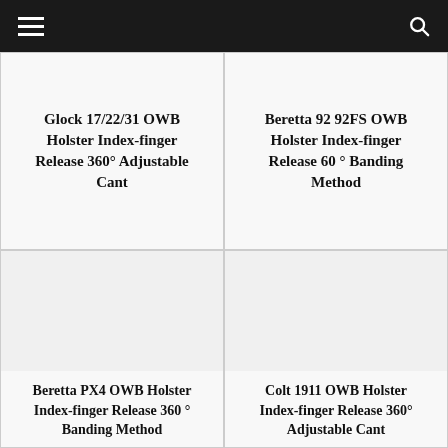Navigation header with hamburger menu and search icon
Glock 17/22/31 OWB Holster Index-finger Release 360° Adjustable Cant
Beretta 92 92FS OWB Holster Index-finger Release 60 ° Banding Method
[Figure (photo): Product image area for Beretta PX4 OWB Holster (blank/white area)]
Beretta PX4 OWB Holster Index-finger Release 360 ° Banding Method
[Figure (photo): Product image area for Colt 1911 OWB Holster (blank/white area)]
Colt 1911 OWB Holster Index-finger Release 360°